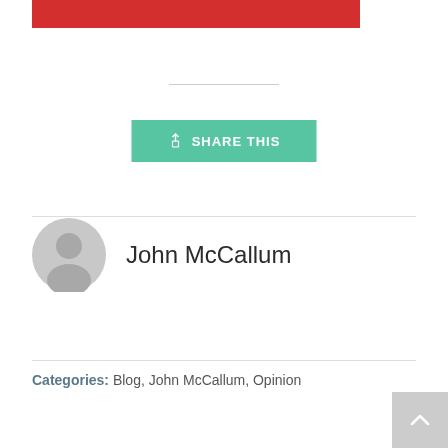[Figure (other): Red horizontal banner bar at the top of the page]
[Figure (other): Share This button with upload icon on teal/green background]
John McCallum
Categories: Blog, John McCallum, Opinion